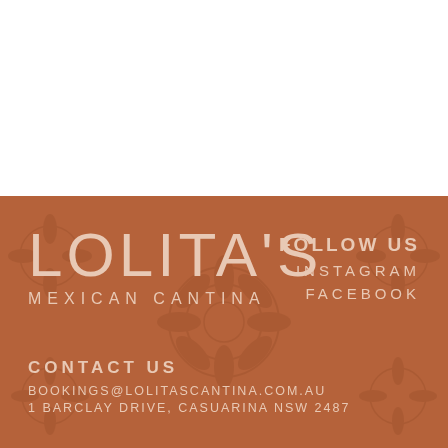[Figure (illustration): White top section of the page, blank space above the restaurant branding card]
LOLITA'S MEXICAN CANTINA
FOLLOW US
INSTAGRAM
FACEBOOK
CONTACT US
BOOKINGS@LOLITASCANTINA.COM.AU
1 BARCLAY DRIVE, CASUARINA NSW 2487